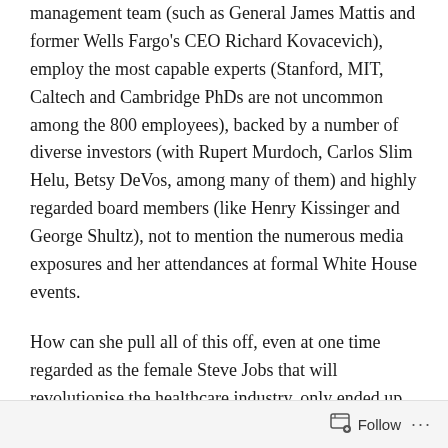management team (such as General James Mattis and former Wells Fargo's CEO Richard Kovacevich), employ the most capable experts (Stanford, MIT, Caltech and Cambridge PhDs are not uncommon among the 800 employees), backed by a number of diverse investors (with Rupert Murdoch, Carlos Slim Helu, Betsy DeVos, among many of them) and highly regarded board members (like Henry Kissinger and George Shultz), not to mention the numerous media exposures and her attendances at formal White House events.
How can she pull all of this off, even at one time regarded as the female Steve Jobs that will revolutionise the healthcare industry, only ended up becoming a fraud?
Follow